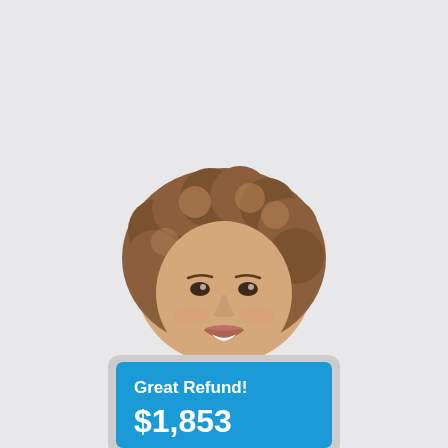maximum refund, guaranteed
[Figure (photo): A smiling woman with curly hair holding a tablet displaying 'Great Refund! $1,853' on a blue screen, set against a light gray background.]
Great Refund! $1,853